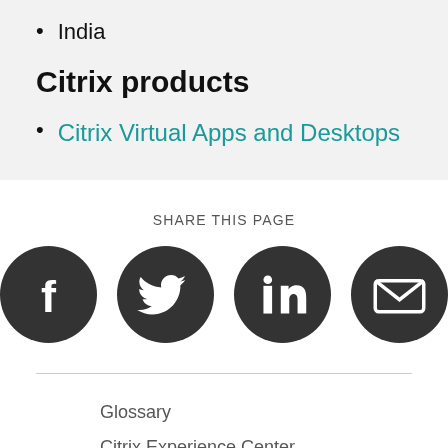India
Citrix products
Citrix Virtual Apps and Desktops
SHARE THIS PAGE
[Figure (infographic): Social sharing icons: Facebook, Twitter, LinkedIn, Email]
Glossary
Citrix Experience Center